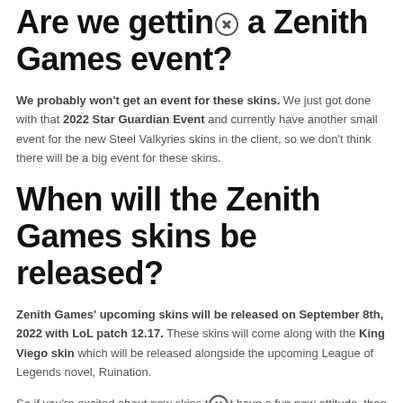Are we getting a Zenith Games event?
We probably won't get an event for these skins. We just got done with that 2022 Star Guardian Event and currently have another small event for the new Steel Valkyries skins in the client, so we don't think there will be a big event for these skins.
When will the Zenith Games skins be released?
Zenith Games' upcoming skins will be released on September 8th, 2022 with LoL patch 12.17. These skins will come along with the King Viego skin which will be released alongside the upcoming League of Legends novel, Ruination.
So if you're excited about new skins that have a fun new attitude, then be